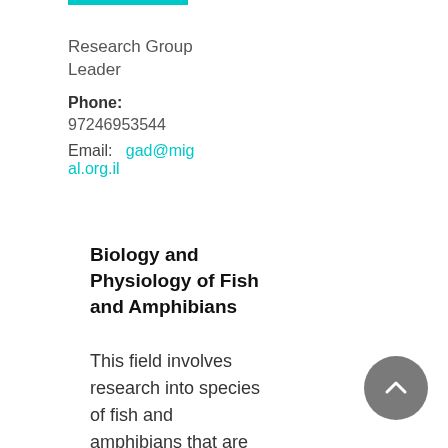Research Group
Leader
Phone: 97246953544
Email: gad@migal.org.il
Biology and Physiology of Fish and Amphibians
This field involves research into species of fish and amphibians that are locally known. The